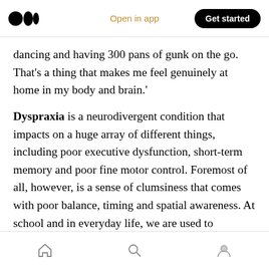Medium logo | Open in app | Get started
dancing and having 300 pans of gunk on the go. That's a thing that makes me feel genuinely at home in my body and brain.'
Dyspraxia is a neurodivergent condition that impacts on a huge array of different things, including poor executive dysfunction, short-term memory and poor fine motor control. Foremost of all, however, is a sense of clumsiness that comes with poor balance, timing and spatial awareness. At school and in everyday life, we are used to spillages, to losing things, to being the weird kid
Home | Search | Profile